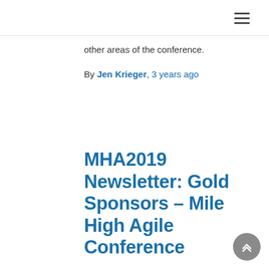≡
other areas of the conference.
By Jen Krieger, 3 years ago
MHA2019 Newsletter: Gold Sponsors – Mile High Agile Conference